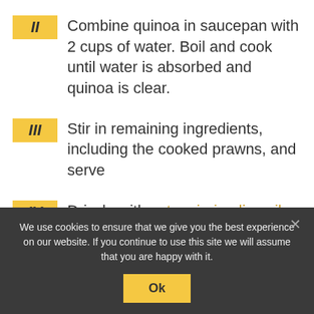II  Combine quinoa in saucepan with 2 cups of water. Boil and cook until water is absorbed and quinoa is clear.
III  Stir in remaining ingredients, including the cooked prawns, and serve
IV  Drizzle with extra virgin olive oil
We use cookies to ensure that we give you the best experience on our website. If you continue to use this site we will assume that you are happy with it.